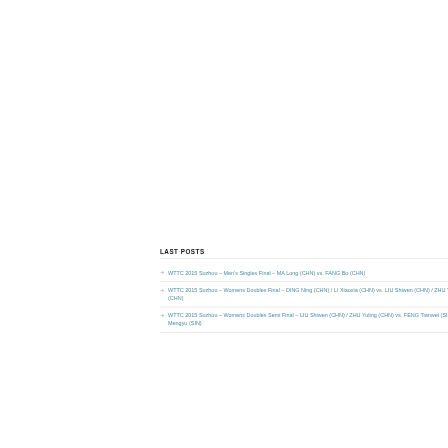LAST POSTS
WTTC 2015 Suzhou – Men's Singles Final – MA Long (CHN) vs. FANG Bo (CHN)
WTTC 2015 Suzhou – Womens Doubles Final – DING Ning (CHN) / LI Xiaoxia (CHN) vs. LIU Shiwen (CHN) / ZHU Yuling (CHN)
WTTC 2015 Suzhou – Womens Doubles Semi Final – LIU Shiwen (CHN) / ZHU Yuling (CHN) vs. FENG Tianwei (SIN) / YU Mengyu (SIN)